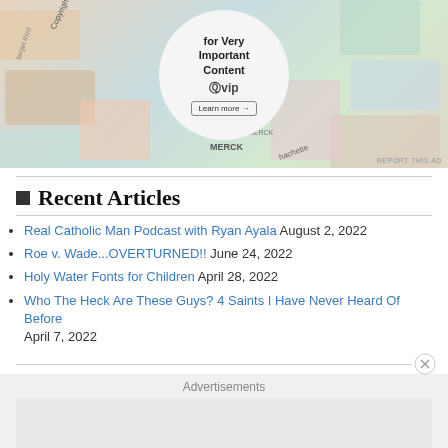[Figure (photo): Advertisement banner showing WordPress VIP with overlapping brand logo cards (Merck, Hachette, etc.), centered circle with text 'for Very Important Content', WordPress VIP logo, and 'Learn more' button]
Recent Articles
Real Catholic Man Podcast with Ryan Ayala August 2, 2022
Roe v. Wade...OVERTURNED!! June 24, 2022
Holy Water Fonts for Children April 28, 2022
Who The Heck Are These Guys? 4 Saints I Have Never Heard Of Before April 7, 2022
Advertisements